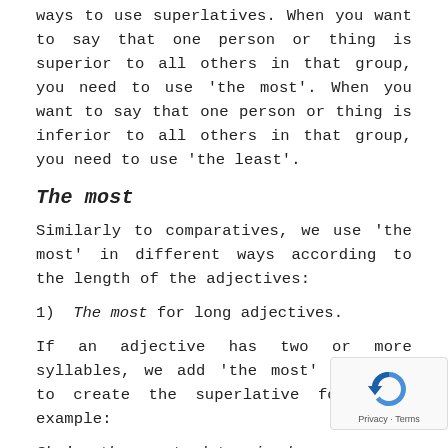ways to use superlatives. When you want to say that one person or thing is superior to all others in that group, you need to use ‘the most’. When you want to say that one person or thing is inferior to all others in that group, you need to use ‘the least’.
The most
Similarly to comparatives, we use ‘the most’ in different ways according to the length of the adjectives:
1)  The most  for long adjectives.
If an adjective has two or more syllables, we add ‘the most’ in front to create the superlative form. For example:
She’s the most determined candidate we’ve s[een] today.